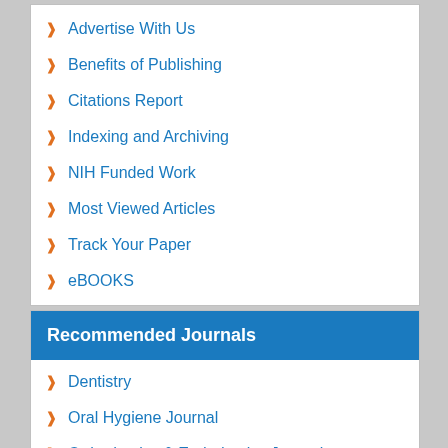Advertise With Us
Benefits of Publishing
Citations Report
Indexing and Archiving
NIH Funded Work
Most Viewed Articles
Track Your Paper
eBOOKS
Recommended Journals
Dentistry
Oral Hygiene Journal
Orthodontics & Endodontics Journal
Dental Management Journal
Oral Health Journal